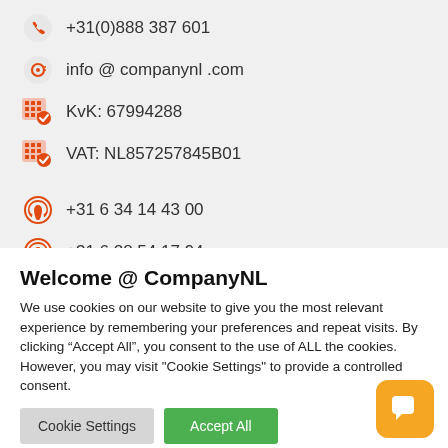+31(0)888 387 601
info @ companynl .com
KvK: 67994288
VAT: NL857257845B01
+31 6 34 14 43 00
+31 6 28 54 17 94
Welcome @ CompanyNL
We use cookies on our website to give you the most relevant experience by remembering your preferences and repeat visits. By clicking “Accept All”, you consent to the use of ALL the cookies. However, you may visit "Cookie Settings" to provide a controlled consent.